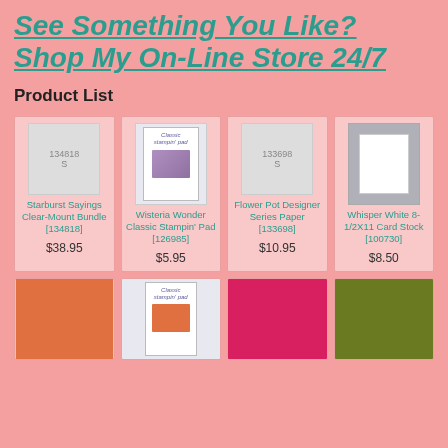See Something You Like? Shop My On-Line Store 24/7
Product List
[Figure (other): Starburst Sayings Clear-Mount Bundle product image placeholder [134818]]
Starburst Sayings Clear-Mount Bundle [134818] $38.95
[Figure (other): Wisteria Wonder Classic Stampin Pad product image [126985]]
Wisteria Wonder Classic Stampin' Pad [126985] $5.95
[Figure (other): Flower Pot Designer Series Paper product image placeholder [133698]]
Flower Pot Designer Series Paper [133698] $10.95
[Figure (other): Whisper White 8-1/2X11 Card Stock product image [100730]]
Whisper White 8-1/2X11 Card Stock [100730] $8.50
[Figure (other): Bottom row: orange card stock, ink pad, pink card stock, green card stock]